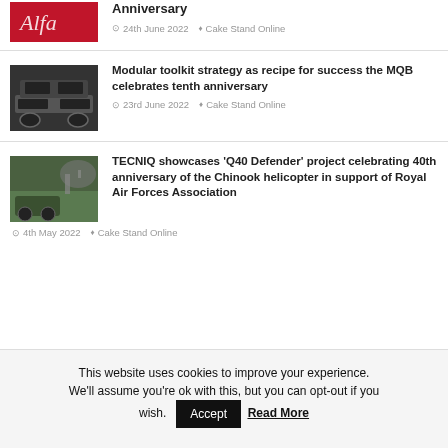[Figure (photo): Partial red car logo/badge image at top]
Anniversary
24th June 2022  Cake Stand Online
[Figure (photo): Car chassis/frame cross-section showing seats and platform]
Modular toolkit strategy as recipe for success the MQB celebrates tenth anniversary
23rd June 2022  Cake Stand Online
[Figure (photo): Land Rover Defender and Chinook helicopter on field]
TECNIQ showcases 'Q40 Defender' project celebrating 40th anniversary of the Chinook helicopter in support of Royal Air Forces Association
4th May 2022  Cake Stand Online
This website uses cookies to improve your experience. We'll assume you're ok with this, but you can opt-out if you wish.